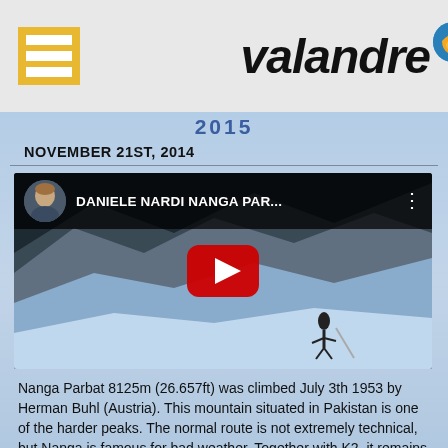valandre
2015
NOVEMBER 21ST, 2014
[Figure (screenshot): YouTube video thumbnail for 'DANIELE NARDI NANGA PAR...' showing a mountaineer climbing a steep snowy slope, with a red play button in the center.]
Nanga Parbat 8125m (26.657ft) was climbed July 3th 1953 by Herman Buhl (Austria). This mountain situated in Pakistan is one of the harder peaks. The normal route is not extremely technical, but Nanga is famous for bad weather. Together with K2, it remains the last 8000 peak that has never been climbed in winter.